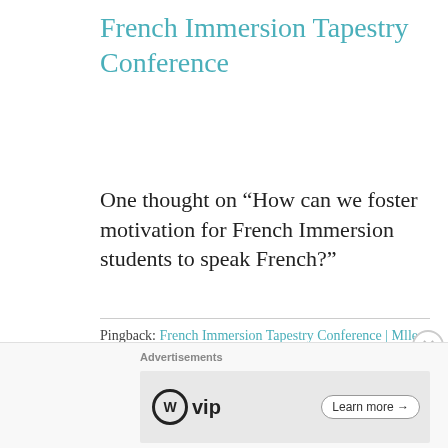French Immersion Tapestry Conference
One thought on “How can we foster motivation for French Immersion students to speak French?”
Pingback: French Immersion Tapestry Conference | Mlle. B. Allen
Advertisements